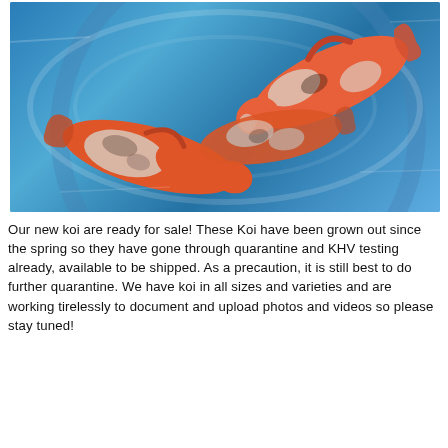[Figure (photo): Overhead view of three orange and white koi fish swimming in a blue circular vat or tank filled with water.]
Our new koi are ready for sale! These Koi have been grown out since the spring so they have gone through quarantine and KHV testing already, available to be shipped. As a precaution, it is still best to do further quarantine. We have koi in all sizes and varieties and are working tirelessly to document and upload photos and videos so please stay tuned!